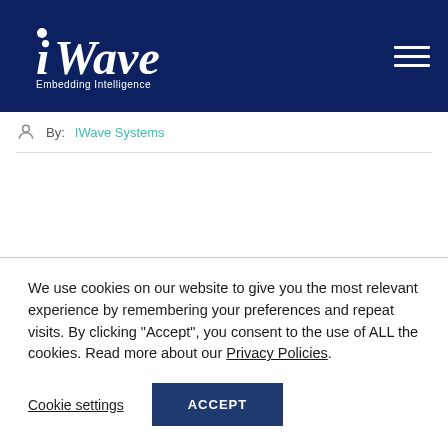[Figure (logo): iWave Embedding Intelligence logo on dark navy background with hamburger menu icon]
By: IWave Systems
We use cookies on our website to give you the most relevant experience by remembering your preferences and repeat visits. By clicking “Accept”, you consent to the use of ALL the cookies. Read more about our Privacy Policies.
Cookie settings
ACCEPT